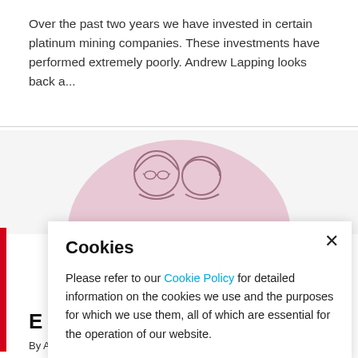Over the past two years we have invested in certain platinum mining companies. These investments have performed extremely poorly. Andrew Lapping looks back a...
[Figure (illustration): Pink semicircle with line-art illustration of two people (figures with glasses), shown from waist up, against a light grey background]
Cookies
Please refer to our Cookie Policy for detailed information on the cookies we use and the purposes for which we use them, all of which are essential for the operation of our website.
E
By Andrew Lapping on 19 Apr 2018